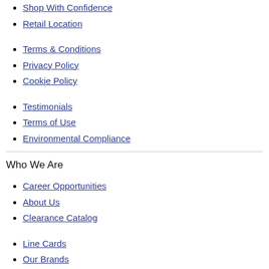Shop With Confidence
Retail Location
Terms & Conditions
Privacy Policy
Cookie Policy
Testimonials
Terms of Use
Environmental Compliance
Who We Are
Career Opportunities
About Us
Clearance Catalog
Line Cards
Our Brands
Resources
Tech Tips
What's New